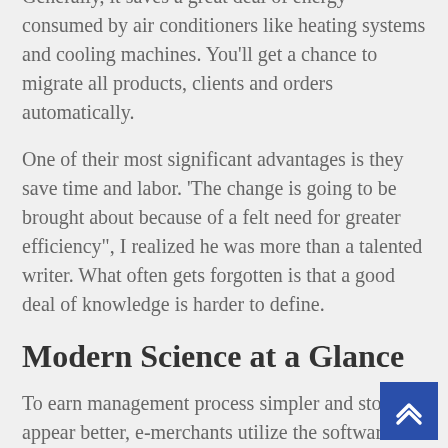Generally, it saves a great deal of energy consumed by air conditioners like heating systems and cooling machines. You'll get a chance to migrate all products, clients and orders automatically.
One of their most significant advantages is they save time and labor. 'The change is going to be brought about because of a felt need for greater efficiency", I realized he was more than a talented writer. What often gets forgotten is that a good deal of knowledge is harder to define.
Modern Science at a Glance
To earn management process simpler and store appear better, e-merchants utilize the software called shopping cart. Faster progress, better efficiency, quicker decisions are a number of the advantages provided by